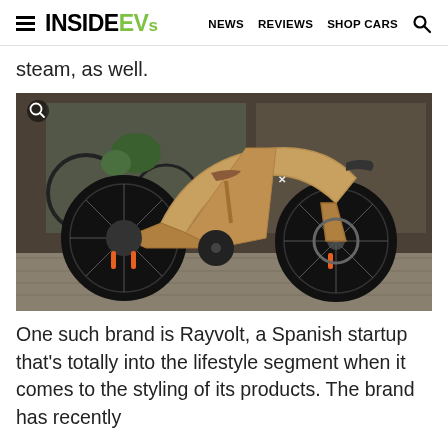INSIDEEVS | NEWS REVIEWS SHOP CARS
steam, as well.
[Figure (photo): A gold/bronze colored Rayvolt electric bicycle parked on stone pavement in front of a shop with bikes visible in the background. The bike has thick black tires, orange accent details, a brown leather seat, and a distinctive streamlined frame with an X logo.]
One such brand is Rayvolt, a Spanish startup that's totally into the lifestyle segment when it comes to the styling of its products. The brand has recently